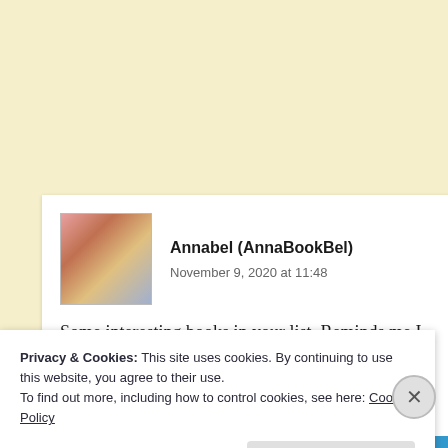Annabel (AnnaBookBel)   November 9, 2020 at 11:48
Some interesting books in your list. Reminds me I really currently got Paula from V&Q (a memoir) and Bookshelf Bloomsbury's Object Lessons series on the go for #NovN
Privacy & Cookies: This site uses cookies. By continuing to use this website, you agree to their use.
To find out more, including how to control cookies, see here: Cookie Policy
Close and accept